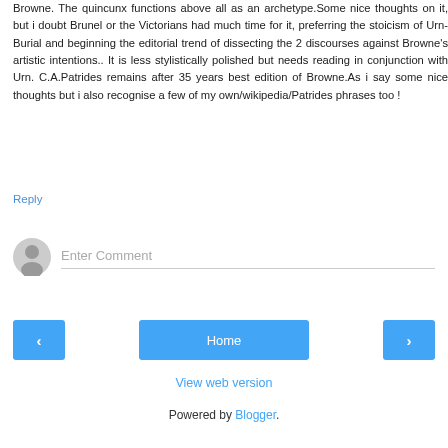Browne. The quincunx functions above all as an archetype.Some nice thoughts on it, but i doubt Brunel or the Victorians had much time for it, preferring the stoicism of Urn-Burial and beginning the editorial trend of dissecting the 2 discourses against Browne's artistic intentions.. It is less stylistically polished but needs reading in conjunction with Urn. C.A.Patrides remains after 35 years best edition of Browne.As i say some nice thoughts but i also recognise a few of my own/wikipedia/Patrides phrases too !
Reply
[Figure (other): Comment input field with gray avatar icon on the left and placeholder text 'Enter Comment' followed by a horizontal line]
[Figure (other): Navigation bar with left arrow button, Home button, and right arrow button]
View web version
Powered by Blogger.